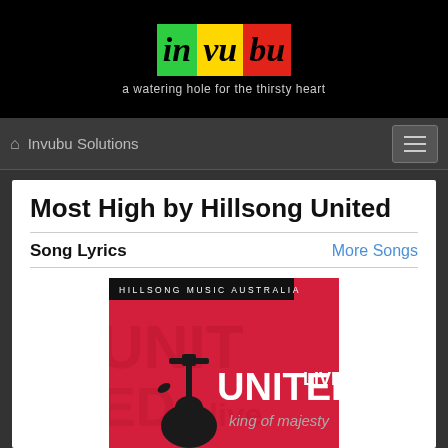[Figure (logo): Invubu logo with colored blocks: green 'in', yellow 'vu', red 'bu', with tagline 'a watering hole for the thirsty heart']
Invubu Solutions
Most High by Hillsong United
Song Lyrics
More Songs
[Figure (photo): Album art for Hillsong United Live 'King of Majesty' - red background with guitar silhouette, text 'HILLSONG MUSIC AUSTRALIA', 'UNITED live', 'king of majesty']